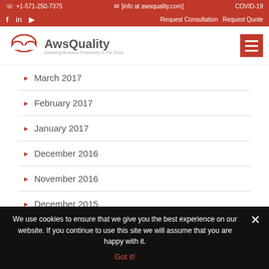+1-571-250-7375 | [info at awsquality.com] | COVID-19
Request Consultation  Request Quote
[Figure (logo): AwsQuality logo with cloud icon and tagline 'Delivering Business Productivity In The Cloud']
March 2017
February 2017
January 2017
December 2016
November 2016
December 2015
We use cookies to ensure that we give you the best experience on our website. If you continue to use this site we will assume that you are happy with it.
Got it!